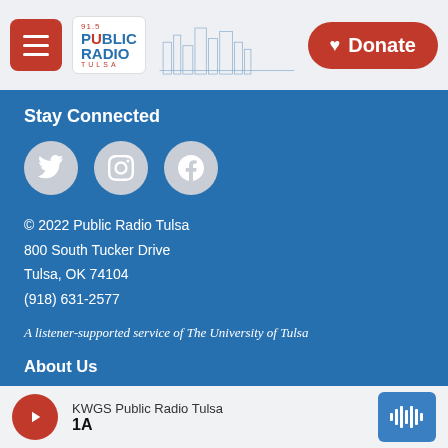[Figure (screenshot): Public Radio Tulsa website header with hamburger menu, logo, skyline illustration, and red Donate button]
Stay Connected
[Figure (infographic): Three circular social media icons: Twitter, Instagram, Facebook]
© 2022 Public Radio Tulsa
800 South Tucker Drive
Tulsa, OK 74104
(918) 631-2577
A listener-supported service of The University of Tulsa
About Us
Business Sponsorships
Community Events
KWGS Public Radio Tulsa 1A